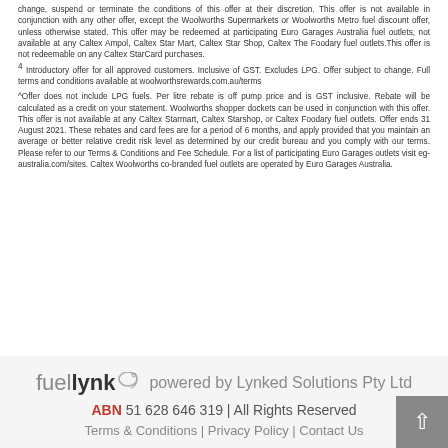change, suspend or terminate the conditions of this offer at their discretion. This offer is not available in conjunction with any other offer, except the Woolworths Supermarkets or Woolworths Metro fuel discount offer, unless otherwise stated. This offer may be redeemed at participating Euro Garages Australia fuel outlets, not available at any Caltex Ampol, Caltex Star Mart, Caltex Star Shop, Caltex The Foodary fuel outlets.This offer is not redeemable on any Caltex StarCard purchases.
4 Introductory offer for all approved customers. Inclusive of GST. Excludes LPG. Offer subject to change. Full terms and conditions available at woolworthsrewards.com.au/terms
^Offer does not include LPG fuels. Per litre rebate is off pump price and is GST inclusive. Rebate will be calculated as a credit on your statement. Woolworths shopper dockets can be used in conjunction with this offer. This offer is not available at any Caltex Starmart, Caltex Starshop, or Caltex Foodary fuel outlets. Offer ends 31 August 2021. These rebates and card fees are for a period of 6 months, and apply provided that you maintain an average or better relative credit risk level as determined by our credit bureau and you comply with our terms. Please refer to our Terms & Conditions and Fee Schedule. For a list of participating Euro Garages outlets visit eg-australia.com/sites. Caltex Woolworths co-branded fuel outlets are operated by Euro Garages Australia.
fuellynk powered by Lynked Solutions Pty Ltd ABN 51 628 646 319 | All Rights Reserved Terms & Conditions | Privacy Policy | Contact Us